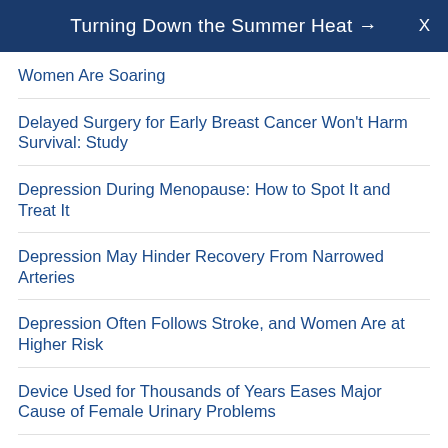Turning Down the Summer Heat →  X
Women Are Soaring
Delayed Surgery for Early Breast Cancer Won't Harm Survival: Study
Depression During Menopause: How to Spot It and Treat It
Depression May Hinder Recovery From Narrowed Arteries
Depression Often Follows Stroke, and Women Are at Higher Risk
Device Used for Thousands of Years Eases Major Cause of Female Urinary Problems
Diabetes While Pregnant Ups Odds for Heart Disease Later
Do C-Section Babies Become Heavier Adults?
Do Hormone Symptoms Affecting Election Choices?